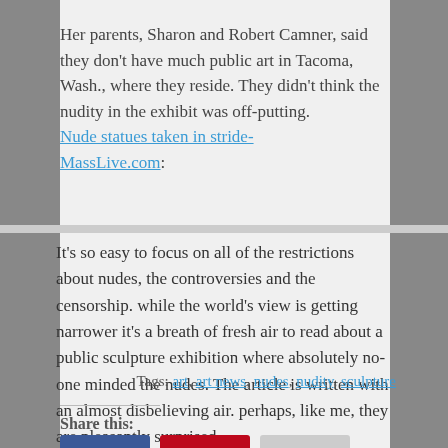Her parents, Sharon and Robert Camner, said they don't have much public art in Tacoma, Wash., where they reside. They didn't think the nudity in the exhibit was off-putting. Nude statues taken in stride- MassLive.com:
It's so easy to focus on all of the restrictions about nudes, the controversies and the censorship. while the world's view is getting narrower it's a breath of fresh air to read about a public sculpture exhibition where absolutely no-one minded the nudes. The article is written with an almost disbelieving air. perhaps, like me, they are pleasantly surprised.
Tags: art, art news, nudes, nudity, sculpture
Share this: